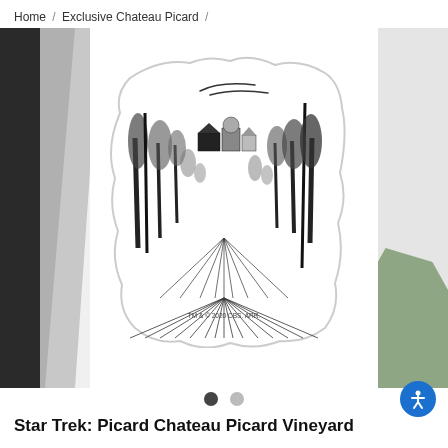Home / Exclusive Chateau Picard /
[Figure (photo): E-commerce product page screenshot showing a Star Trek Picard Chateau Picard Vineyard sticker. The sticker features a black-and-white illustration of the Chateau Picard vineyard with a path leading to the chateau building, flanked by trees and grapevines. The text 'TM & © 2020 CBS. ARR.' appears at the bottom of the sticker. The sticker is displayed on a desk background with headphones and a notebook on the left, a mouse and plant on the right. Navigation dots appear below the image along with an accessibility icon button.]
Star Trek: Picard Chateau Picard Vineyard